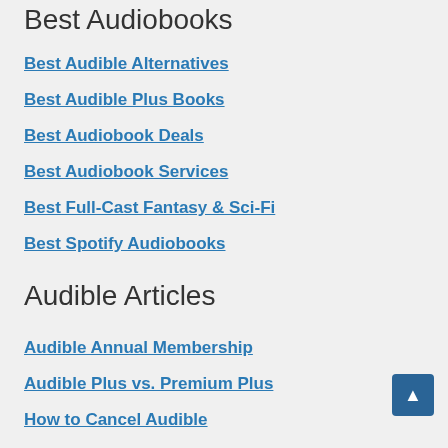Best Audiobooks
Best Audible Alternatives
Best Audible Plus Books
Best Audiobook Deals
Best Audiobook Services
Best Full-Cast Fantasy & Sci-Fi
Best Spotify Audiobooks
Audible Articles
Audible Annual Membership
Audible Plus vs. Premium Plus
How to Cancel Audible
How to Pause Audible